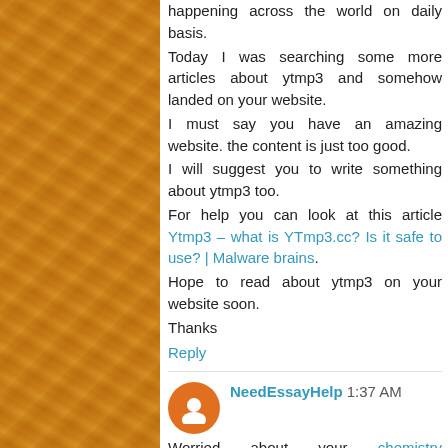happening across the world on daily basis.
Today I was searching some more articles about ytmp3 and somehow landed on your website.
I must say you have an amazing website. the content is just too good.
I will suggest you to write something about ytmp3 too.
For help you can look at this article Ytmp3 – what is YTmp3.cc? Is it safe to use? | Malware brains.
Hope to read about ytmp3 on your website soon.
Thanks
Reply
NeedEssayHelp 1:37 AM
Worried about your chemistry assignment help? No worries! EssayCorp offers the best online